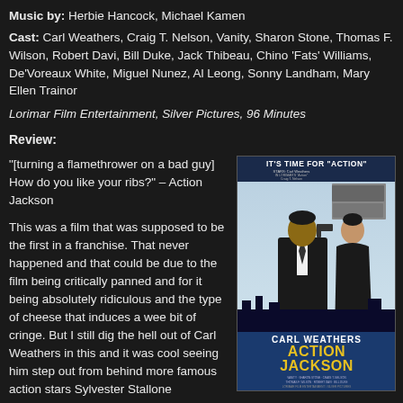Music by: Herbie Hancock, Michael Kamen
Cast: Carl Weathers, Craig T. Nelson, Vanity, Sharon Stone, Thomas F. Wilson, Robert Davi, Bill Duke, Jack Thibeau, Chino 'Fats' Williams, De'Voreaux White, Miguel Nunez, Al Leong, Sonny Landham, Mary Ellen Trainor
Lorimar Film Entertainment, Silver Pictures, 96 Minutes
Review:
“[turning a flamethrower on a bad guy] How do you like your ribs?” – Action Jackson
This was a film that was supposed to be the first in a franchise. That never happened and that could be due to the film being critically panned and for it being absolutely ridiculous and the type of cheese that induces a wee bit of cringe. But I still dig the hell out of Carl Weathers in this and it was cool seeing him step out from behind more famous action stars Sylvester Stallone
[Figure (photo): Movie poster for Action Jackson featuring Carl Weathers in a tuxedo holding a gun, with a woman in a black dress beside him. Text reads 'IT'S TIME FOR ACTION' at the top and 'CARL WEATHERS ACTION JACKSON' at the bottom.]